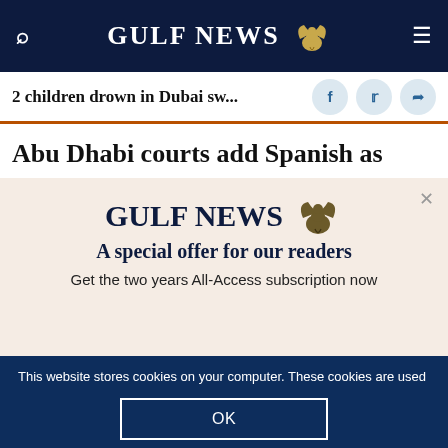GULF NEWS
2 children drown in Dubai sw...
Abu Dhabi courts add Spanish as
[Figure (logo): Gulf News logo with eagle emblem and text 'A special offer for our readers']
Get the two years All-Access subscription now
This website stores cookies on your computer. These cookies are used to improve your experience and provide more personalized service to you. Both on your website and other media. To find out more about the cookies and data we use, please check out our Privacy Policy.
OK